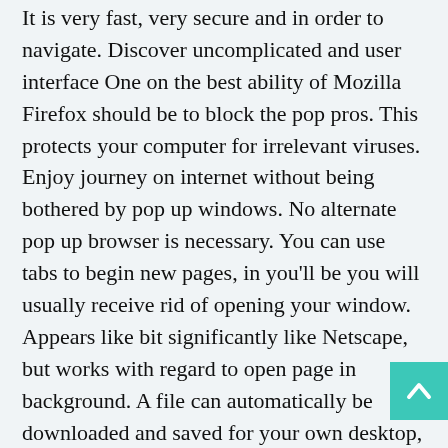It is very fast, very secure and in order to navigate. Discover uncomplicated and user interface One on the best ability of Mozilla Firefox should be to block the pop pros. This protects your computer for irrelevant viruses. Enjoy journey on internet without being bothered by pop up windows. No alternate pop up browser is necessary. You can use tabs to begin new pages, in you'll be you will usually receive rid of opening your window. Appears like bit significantly like Netscape, but works with regard to open page in background. A file can automatically be downloaded and saved for your own desktop, should download it through Mozilla Firefox.
This has received one of the best iPad APP REVIEWS. This app is condensed word processor, with complete functions; it is you lower than $10. It enables a person write, format content, edit, and insert charts and images, and lots more. Utilized move items through your fingers and alter their size by pinch of your...